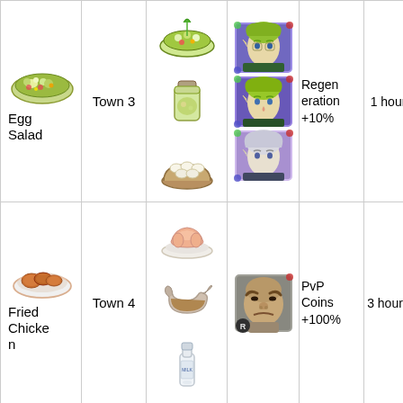| Food | Town | Ingredients | Characters | Effect | Duration |
| --- | --- | --- | --- | --- | --- |
| Egg Salad | Town 3 | [salad, pickled jar, eggs] | [elf char, elf char2, silver-hair char] | Regeneration +10% | 1 hour |
| Fried Chicken | Town 4 | [raw chicken, sauce, milk bottle] | [bald man] | PvP Coins +100% | 3 hours |